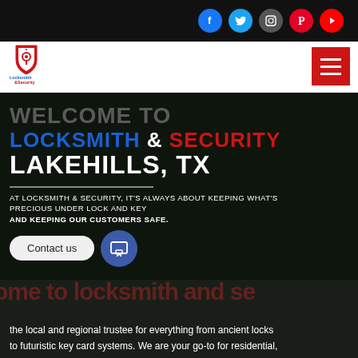Social media icons: Facebook, Twitter, Instagram, Pinterest, YouTube
[Figure (logo): Locksmith & Security logo with shield icon in red and blue, text 'Locksmith &Security' below]
WELCOME TO LOCKSMITH & SECURITY LAKEHILLS, TX
AT LOCKSMITH & SECURITY, IT'S ALWAYS ABOUT KEEPING WHAT'S PRECIOUS UNDER LOCK AND KEY AND KEEPING OUR CUSTOMERS SAFE.
the local and regional trustee for everything from ancient locks to futuristic key card systems. We are your go-to for residential,